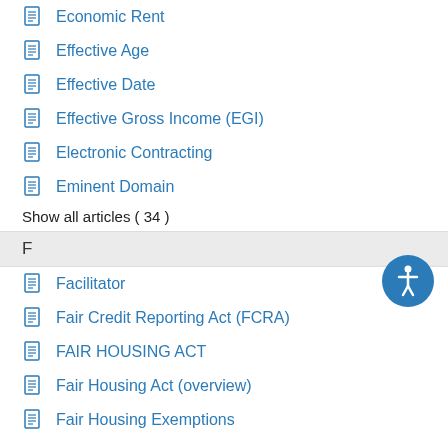Economic Rent
Effective Age
Effective Date
Effective Gross Income (EGI)
Electronic Contracting
Eminent Domain
Show all articles ( 34 )
F
Facilitator
Fair Credit Reporting Act (FCRA)
FAIR HOUSING ACT
Fair Housing Act (overview)
Fair Housing Exemptions